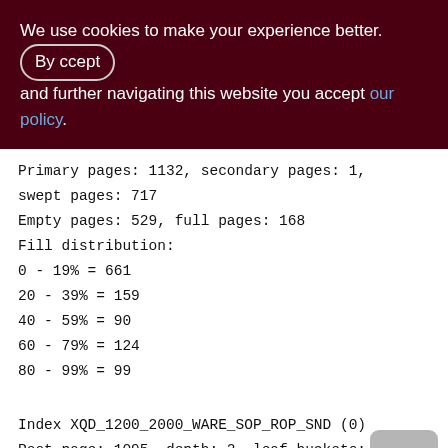We use cookies to make your experience better. By accepting and further navigating this website you accept our policy.
Primary pages: 1132, secondary pages: 1, swept pages: 717
Empty pages: 529, full pages: 168
Fill distribution:
0 - 19% = 661
20 - 39% = 159
40 - 59% = 90
60 - 79% = 124
80 - 99% = 99
Index XQD_1200_2000_WARE_SOP_ROP_SND (0)
Root page: 1095, depth: 2, leaf buckets:
45, nodes: 21818